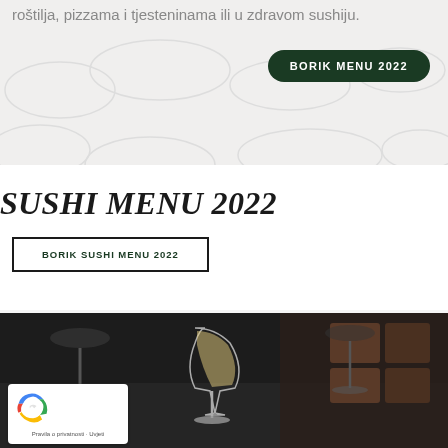roštilja, pizzama i tjesteninama ili u zdravom sushiju.
[Figure (other): Dark green pill-shaped button with white bold text reading 'BORIK MENU 2022']
SUSHI MENU 2022
[Figure (other): Rectangular outlined button with dark green bold text reading 'BORIK SUSHI MENU 2022']
[Figure (photo): Dark blurred restaurant interior photo showing wine glasses on a table, with a clear wine glass in the center filled with white wine]
[Figure (other): reCAPTCHA widget badge with blue/red logo and text 'Pravila o privatnosti · Uvjeti']